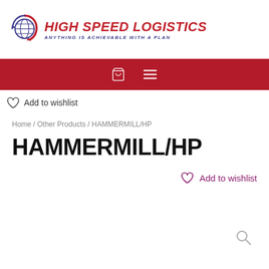[Figure (logo): High Speed Logistics logo with globe/arrow icon and tagline 'ANYTHING IS ACHIEVABLE WITH A PLAN']
Navigation bar with shopping cart and hamburger menu icons
Add to wishlist
Home / Other Products / HAMMERMILL/HP
HAMMERMILL/HP
Add to wishlist